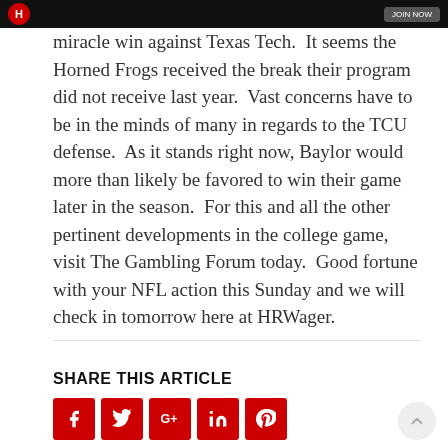HRWager header bar
miracle win against Texas Tech.  It seems the Horned Frogs received the break their program did not receive last year.  Vast concerns have to be in the minds of many in regards to the TCU defense.  As it stands right now, Baylor would more than likely be favored to win their game later in the season.  For this and all the other pertinent developments in the college game, visit The Gambling Forum today.  Good fortune with your NFL action this Sunday and we will check in tomorrow here at HRWager.
SHARE THIS ARTICLE